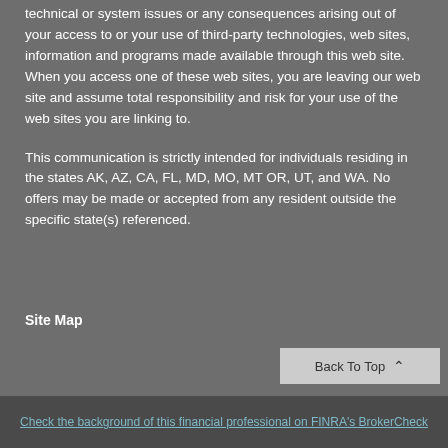technical or system issues or any consequences arising out of your access to or your use of third-party technologies, web sites, information and programs made available through this web site. When you access one of these web sites, you are leaving our web site and assume total responsibility and risk for your use of the web sites you are linking to.
This communication is strictly intended for individuals residing in the states AK, AZ, CA, FL, MD, MO, MT OR, UT, and WA. No offers may be made or accepted from any resident outside the specific state(s) referenced.
Site Map
Back To Top
Check the background of this financial professional on FINRA's BrokerCheck